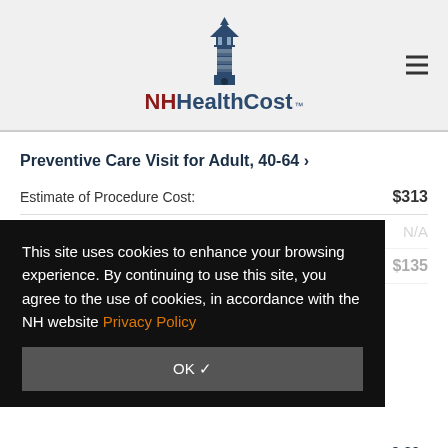[Figure (logo): NH HealthCost lighthouse logo with text]
Preventive Care Visit for Adult, 40-64 ›
Estimate of Procedure Cost: $313
Number of Visits: N/A
What You Will Pay: $135
This site uses cookies to enhance your browsing experience. By continuing to use this site, you agree to the use of cookies, in accordance with the NH website Privacy Policy
OK ✓
8-39 ›
Estimate of Procedure Cost: $294